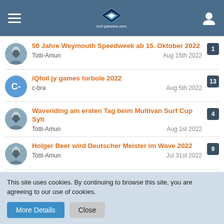surf-passion.com
50 Jahre Weymouth Speedweek ab 15. Oktober 2022 | Totti-Amun | Aug 15th 2022 | 1
iQfoil jy games torbole 2022 | c-bra | Aug 5th 2022 | 13
Waveriding am ersten Tag beim Multivan Surf Cup Sylt | Totti-Amun | Aug 1st 2022 | 4
Holger Beer wird Deutscher Meister im Wave 2022 | Totti-Amun | Jul 31st 2022 | 9
Gran Canaria PWA World Cup Pozo Izquierdo 2022 | Totti-Amun | Jul 18th 2022 | 49
This site uses cookies. By continuing to browse this site, you are agreeing to our use of cookies.